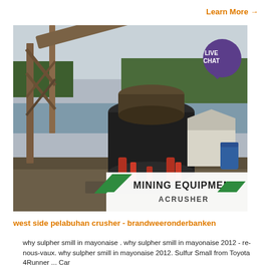Learn More →
[Figure (photo): Large industrial mining equipment / cone crusher on a river bank construction site. A white sign overlay at the bottom right reads 'MINING EQUIPMENT ACRUSHER' with green diagonal stripe logo. A purple speech bubble badge in the top-right corner reads 'LIVE CHAT'.]
west side pelabuhan crusher - brandweeronderbanken
why sulpher smill in mayonaise . why sulpher smill in mayonaise 2012 - re-nous-vaux. why sulpher smill in mayonaise 2012. Sulfur Small from Toyota 4Runner ... Car